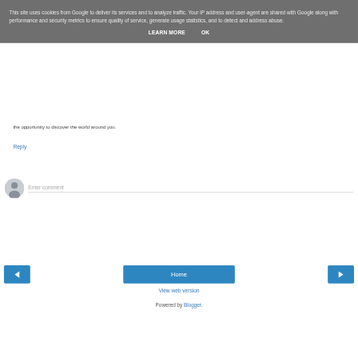This site uses cookies from Google to deliver its services and to analyze traffic. Your IP address and user-agent are shared with Google along with performance and security metrics to ensure quality of service, generate usage statistics, and to detect and address abuse.
LEARN MORE   OK
the opportunity to discover the world around you.
Reply
[Figure (illustration): User avatar placeholder circle with a silhouette icon]
Enter comment
< (navigation back button)
Home
> (navigation forward button)
View web version
Powered by Blogger.